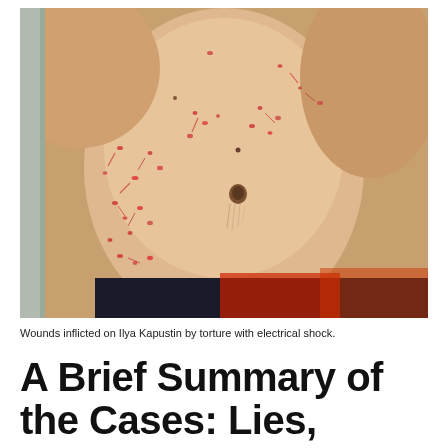[Figure (photo): Close-up photograph of a male torso showing numerous red wounds and marks across the abdomen and chest area, consistent with electrical shock injuries inflicted on Ilya Kapustin.]
Wounds inflicted on Ilya Kapustin by torture with electrical shock.
A Brief Summary of the Cases: Lies, Forgery,